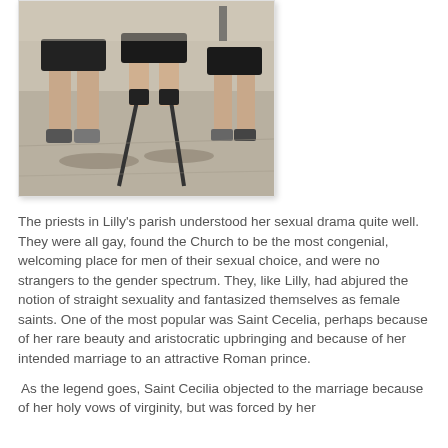[Figure (photo): Outdoor photograph showing legs of people, one person using crutches or prosthetic legs, standing on a pavement/asphalt surface in sunlight with shadows visible.]
The priests in Lilly's parish understood her sexual drama quite well.  They were all gay, found the Church to be the most congenial, welcoming place for men of their sexual choice, and were no strangers to the gender spectrum.  They, like Lilly, had abjured the notion of straight sexuality and fantasized themselves as female saints.  One of the most popular was Saint Cecelia, perhaps because of her rare beauty and aristocratic upbringing and because of her intended marriage to an attractive Roman prince.
As the legend goes, Saint Cecilia objected to the marriage because of her holy vows of virginity, but was forced by her